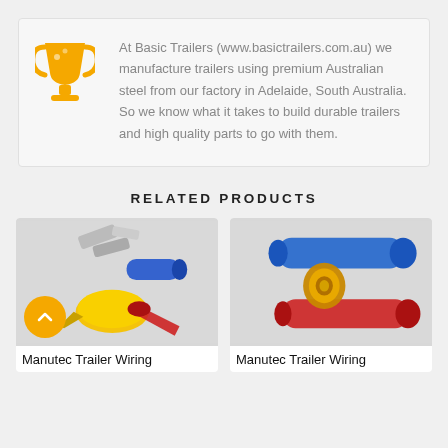At Basic Trailers (www.basictrailers.com.au) we manufacture trailers using premium Australian steel from our factory in Adelaide, South Australia. So we know what it takes to build durable trailers and high quality parts to go with them.
RELATED PRODUCTS
[Figure (photo): Photo of Manutec Trailer Wiring electrical connectors — yellow, red, and metal crimp terminals on white background]
Manutec Trailer Wiring
[Figure (photo): Photo of Manutec Trailer Wiring butt connectors — blue and red heat-shrink connectors with gold ring terminal on white background]
Manutec Trailer Wiring